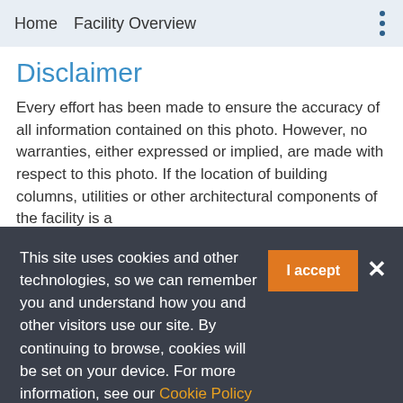Home   Facility Overview
Disclaimer
Every effort has been made to ensure the accuracy of all information contained on this photo. However, no warranties, either expressed or implied, are made with respect to this photo. If the location of building columns, utilities or other architectural components of the facility is a
This site uses cookies and other technologies, so we can remember you and understand how you and other visitors use our site. By continuing to browse, cookies will be set on your device. For more information, see our Cookie Policy